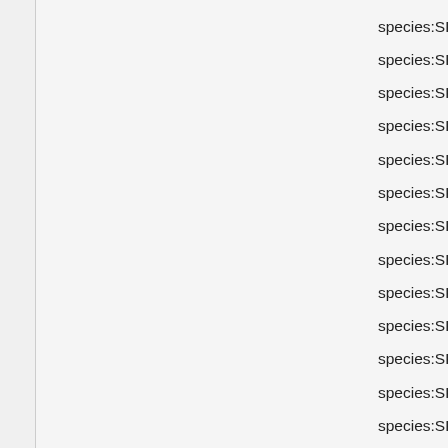species:SPECIES_DIST_PLA,
species:SPECIES_DIST_SUT,
species:SPECIES_DIST_SUU,
species:SPECIES_DIST_OTY,
species:SPECIES_DIST_SEH,
species:SPECIES_DIST_MHG,
species:SPECIES_DIST_MHA,
species:SPECIES_DIST_SUD,
species:SPECIES_DIST_SUE,
species:SPECIES_DIST_SUF,
species:SPECIES_DIST_SUG,
species:SPECIES_DIST_OTO,
species:SPECIES_DIST_SUA,
species:SPECIES_DIST_SUC,
species:SPECIES_DIST_SUL,
species:SPECIES_DIST_SUN,
species:SPECIES_DIST_SUO,
species:SPECIES_DIST_SUJ,
species:SPECIES_DIST_DGS,
species:SPECIES_DIST_DOB,
species:SPECIES_DIST_NDG,
species:SPECIES_DIST_EIL,
species:SPECIES_DIST_QTD,
species:SPECIES_DIST_KRI,
species:SPECIES_DIST_GUP, fifao:NJA